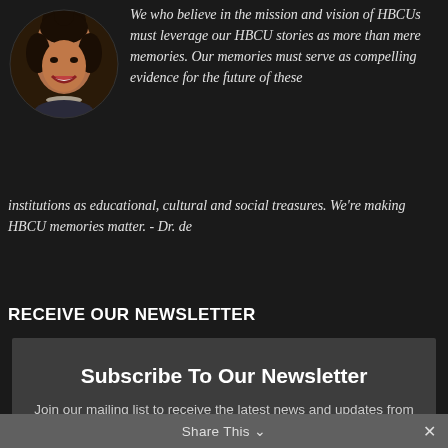[Figure (photo): A circular portrait photo of a woman with a bun hairstyle, smiling, wearing a patterned top and pearl necklace.]
We who believe in the mission and vision of HBCUs must leverage our HBCU stories as more than mere memories. Our memories must serve as compelling evidence for the future of these institutions as educational, cultural and social treasures. We're making HBCU memories matter. - Dr. de
RECEIVE OUR NEWSLETTER
Subscribe To Our Newsletter
Join our mailing list to receive the latest news and updates from our team.
Email
Share This